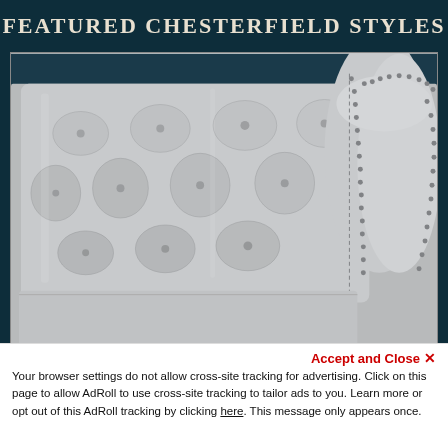FEATURED CHESTERFIELD STYLES
[Figure (photo): Close-up photo of a white/silver leather Chesterfield sofa showing tufted back, rolled arm with nailhead trim, and seat cushion against a dark teal background.]
Accept and Close ✕
Your browser settings do not allow cross-site tracking for advertising. Click on this page to allow AdRoll to use cross-site tracking to tailor ads to you. Learn more or opt out of this AdRoll tracking by clicking here. This message only appears once.